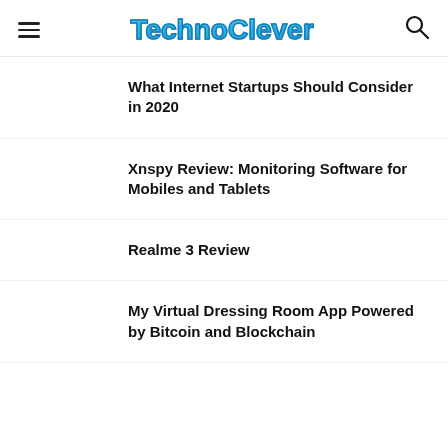TechnoClever
What Internet Startups Should Consider in 2020
Xnspy Review: Monitoring Software for Mobiles and Tablets
Realme 3 Review
My Virtual Dressing Room App Powered by Bitcoin and Blockchain